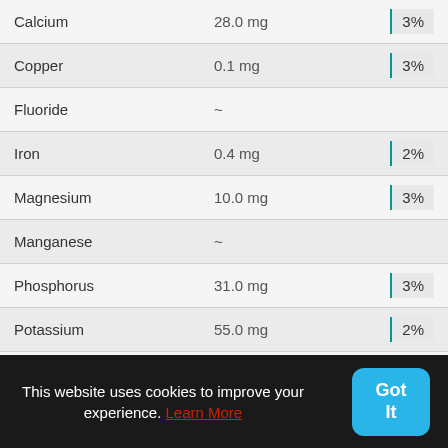| Nutrient | Amount | %DV |
| --- | --- | --- |
| Calcium | 28.0 mg | 3% |
| Copper | 0.1 mg | 3% |
| Fluoride | ~ |  |
| Iron | 0.4 mg | 2% |
| Magnesium | 10.0 mg | 3% |
| Manganese | ~ |  |
| Phosphorus | 31.0 mg | 3% |
| Potassium | 55.0 mg | 2% |
| Sodium | 20.0 mg | 1% |
This website uses cookies to improve your experience. Learn More
Got It